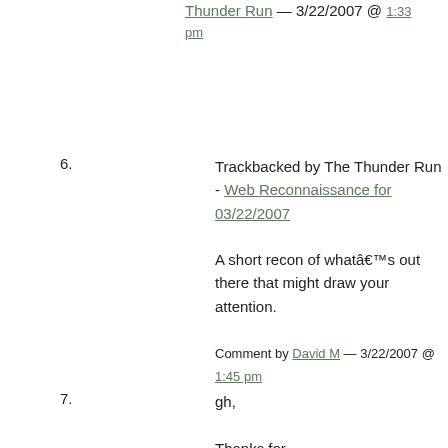Thunder Run — 3/22/2007 @ 1:33 pm
6. Trackbacked by The Thunder Run - Web Reconnaissance for 03/22/2007 A short recon of whatâ€™s out there that might draw your attention. Comment by David M — 3/22/2007 @ 1:45 pm
7. gh, Thanks for